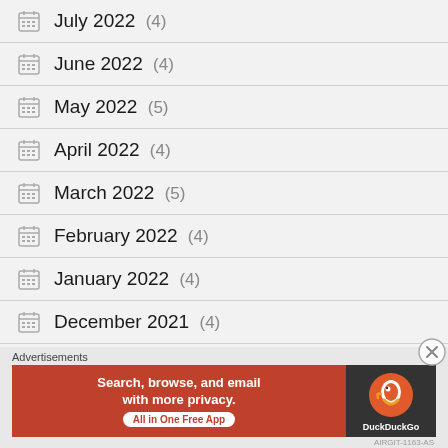July 2022 (4)
June 2022 (4)
May 2022 (5)
April 2022 (4)
March 2022 (5)
February 2022 (4)
January 2022 (4)
December 2021 (4)
Advertisements
[Figure (other): DuckDuckGo advertisement banner: Search, browse, and email with more privacy. All in One Free App]